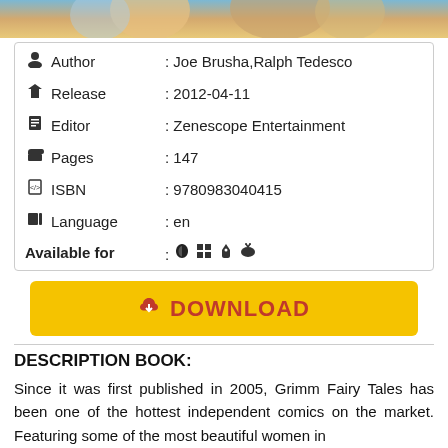[Figure (photo): Top portion of a book cover showing colorful illustrated characters]
| Author | : Joe Brusha,Ralph Tedesco |
| Release | : 2012-04-11 |
| Editor | : Zenescope Entertainment |
| Pages | : 147 |
| ISBN | : 9780983040415 |
| Language | : en |
| Available for | : [platform icons] |
[Figure (infographic): Yellow DOWNLOAD button with cloud download icon in red]
DESCRIPTION BOOK:
Since it was first published in 2005, Grimm Fairy Tales has been one of the hottest independent comics on the market. Featuring some of the most beautiful women in